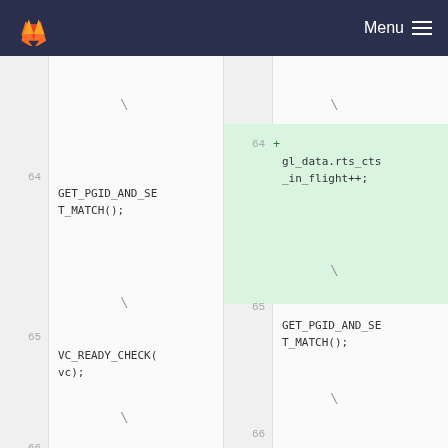GitLab Menu
[Figure (screenshot): GitLab diff view showing code changes. Left panel shows original lines 64-66 with GET_PGID_AND_SET_MATCH(); and VC_READY_CHECK(vc); macros. Right panel shows new lines 64-67 with added line 64 inserting gl_data.rts_cts_in_flight++;]
64  GET_PGID_AND_SET_MATCH(); \
65  VC_READY_CHECK(vc); \
66  s = 1;
64 + gl_data.rts_cts_in_flight++;
65  GET_PGID_AND_SET_MATCH(); \
66  VC_READY_CHECK(vc); \
67  s = 1;